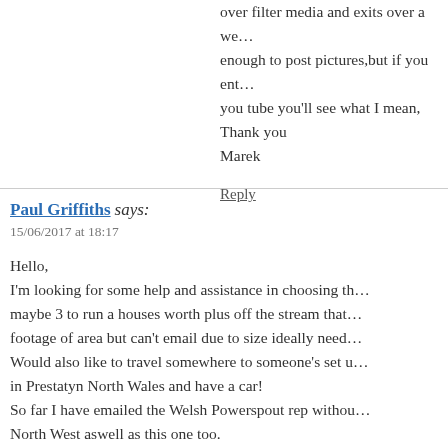over filter media and exits over a we… enough to post pictures,but if you ent… you tube you'll see what I mean,
Thank you
Marek
Reply
Paul Griffiths says:
15/06/2017 at 18:17
Hello,
I'm looking for some help and assistance in choosing th… maybe 3 to run a houses worth plus off the stream that… footage of area but can't email due to size ideally need… Would also like to travel somewhere to someone's set u… in Prestatyn North Wales and have a car!
So far I have emailed the Welsh Powerspout rep withou… North West aswell as this one too.